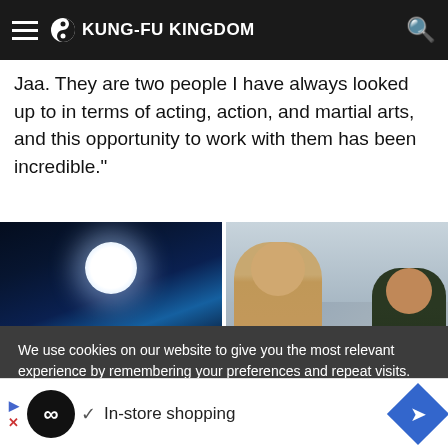KUNG-FU KINGDOM
Jaa. They are two people I have always looked up to in terms of acting, action, and martial arts, and this opportunity to work with them has been incredible."
[Figure (photo): Two side-by-side movie stills: left image shows a group of figures silhouetted against a large full moon in a blue-toned rocky night scene; right image shows a muscular man in a tan t-shirt and a woman in a dark military jacket standing in a ruined outdoor setting.]
We use cookies on our website to give you the most relevant experience by remembering your preferences and repeat visits. By clicking “Accept”, you consent to the use of ALL the cookies.
[Figure (screenshot): Advertisement bar showing a play/close button, a circular black infinity logo, a checkmark, text 'In-store shopping', and a blue diamond arrow button on the right.]